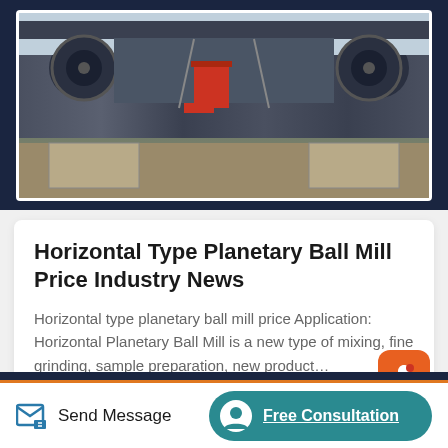[Figure (photo): Industrial crane or horizontal planetary ball mill machinery photographed outdoors, showing heavy mechanical equipment with large circular components mounted on a dark frame, with concrete blocks visible on the ground]
Horizontal Type Planetary Ball Mill Price Industry News
Horizontal type planetary ball mill price Application: Horizontal Planetary Ball Mill is a new type of mixing, fine grinding, sample preparation, new product…
Read More
Send Message   Free Consultation